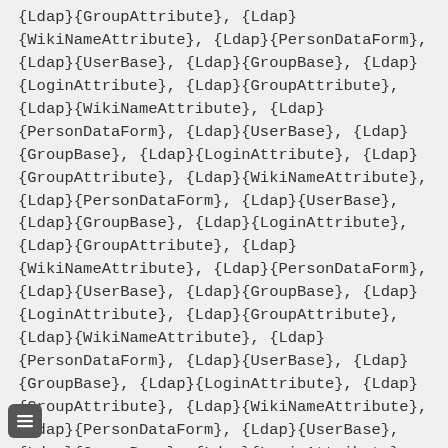{Ldap}{GroupAttribute}, {Ldap}{WikiNameAttribute}, {Ldap}{PersonDataForm}, {Ldap}{UserBase}, {Ldap}{GroupBase}, {Ldap}{LoginAttribute}, {Ldap}{GroupAttribute}, {Ldap}{WikiNameAttribute}, {Ldap}{PersonDataForm}, {Ldap}{UserBase}, {Ldap}{GroupBase}, {Ldap}{LoginAttribute}, {Ldap}{GroupAttribute}, {Ldap}{WikiNameAttribute}, {Ldap}{PersonDataForm}, {Ldap}{UserBase}, {Ldap}{GroupBase}, {Ldap}{LoginAttribute}, {Ldap}{GroupAttribute}, {Ldap}{WikiNameAttribute}, {Ldap}{PersonDataForm}, {Ldap}{UserBase}, {Ldap}{GroupBase}, {Ldap}{LoginAttribute}, {Ldap}{GroupAttribute}, {Ldap}{WikiNameAttribute}, {Ldap}{PersonDataForm}, {Ldap}{UserBase}, {Ldap}{GroupBase}, {Ldap}{LoginAttribute}, {Ldap}{GroupAttribute}, {Ldap}{WikiNameAttribute}, {Ldap}{PersonDataForm}, {Ldap}{UserBase}, {Ldap}{GroupBase}, {Ldap}{LoginAttribute}